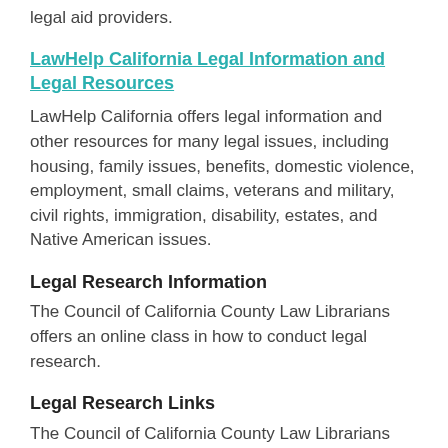legal aid providers.
LawHelp California Legal Information and Legal Resources
LawHelp California offers legal information and other resources for many legal issues, including housing, family issues, benefits, domestic violence, employment, small claims, veterans and military, civil rights, immigration, disability, estates, and Native American issues.
Legal Research Information
The Council of California County Law Librarians offers an online class in how to conduct legal research.
Legal Research Links
The Council of California County Law Librarians offers a categorized list of links to state and national legal resources, including general research, laws, regulations,